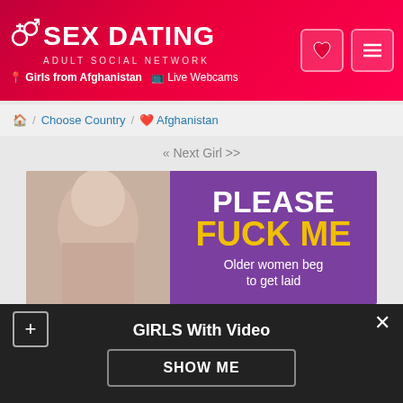SEX DATING ADULT SOCIAL NETWORK — Girls from Afghanistan | Live Webcams
/ Choose Country / Afghanistan
« Next Girl >>
[Figure (photo): Adult dating advertisement banner with photo on left and purple text box on right reading PLEASE FUCK ME Older women beg to get laid]
Magdalene. Seeking Sex Contacts VIDEO+
[Figure (photo): Profile photo thumbnail partially visible]
GIRLS With Video
SHOW ME